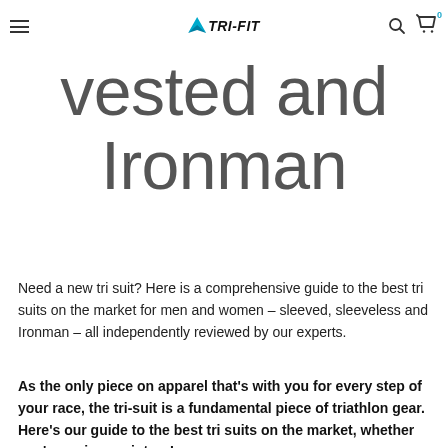TRI-FIT navigation header with hamburger menu, TRI-FIT logo, search and cart icons
short-sleeved, vested and Ironman
Need a new tri suit? Here is a comprehensive guide to the best tri suits on the market for men and women – sleeved, sleeveless and Ironman – all independently reviewed by our experts.
As the only piece on apparel that's with you for every step of your race, the tri-suit is a fundamental piece of triathlon gear. Here's our guide to the best tri suits on the market, whether you're racing sprint or Ironman, on a